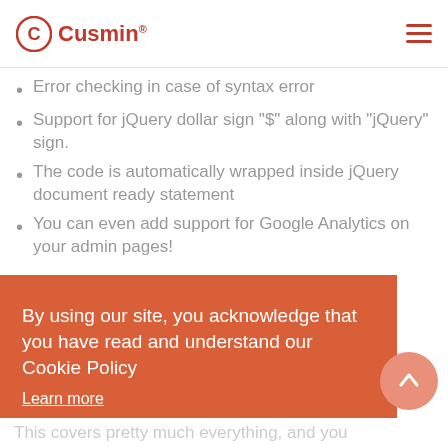Cusmin®
Error checking in case of syntax error
Support for jQuery dollar sign "$" along with "jQuery" sign.
The code is automatically wrapped inside jQuery document ready statement
You can even add support for Google Analytics on your admin pages!
By using our site, you acknowledge that you have read and understand our Cookie Policy
Learn more
Got it!
This covers pretty much everything, and you